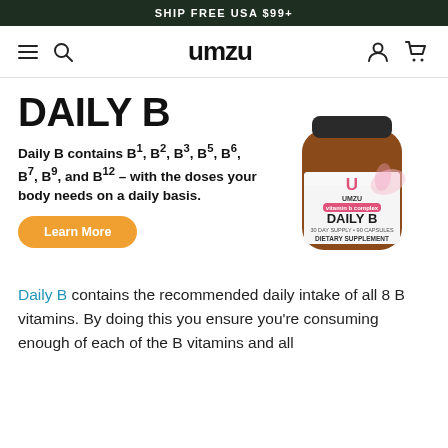SHIP FREE USA $99+
[Figure (screenshot): UMZU website navigation bar with hamburger menu, search icon, UMZU logo, user icon, and cart icon]
DAILY B
Daily B contains B1, B2, B3, B5, B6, B7, B9, and B12 – with the doses your body needs on a daily basis.
[Figure (photo): UMZU Daily B dietary supplement bottle – amber glass jar with white label showing UMZU logo (pink U), DAILY B text, vitamin B complex, 30 day supply, 90 capsules, dietary supplement]
Learn More
Daily B contains the recommended daily intake of all 8 B vitamins. By doing this you ensure you're consuming enough of each of the B vitamins and all